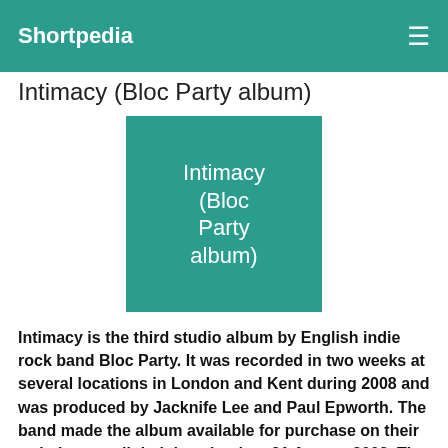Shortpedia
Intimacy (Bloc Party album)
[Figure (illustration): Teal/green square placeholder image with white text reading 'Intimacy (Bloc Party album)']
Intimacy is the third studio album by English indie rock band Bloc Party. It was recorded in two weeks at several locations in London and Kent during 2008 and was produced by Jacknife Lee and Paul Epworth. The band made the album available for purchase on their website as a digital download on 21 August 2008. The